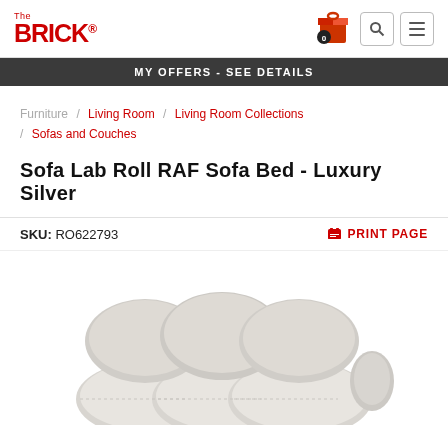[Figure (logo): The Brick logo in red with 'The' in small text above 'BRICK' in large bold letters with a registered trademark dot]
MY OFFERS - SEE DETAILS
Furniture / Living Room / Living Room Collections / Sofas and Couches
Sofa Lab Roll RAF Sofa Bed - Luxury Silver
SKU: RO622793
PRINT PAGE
[Figure (photo): Top-down view of a light grey/silver sofa with three cushioned sections, showing the backrest cushions from above]